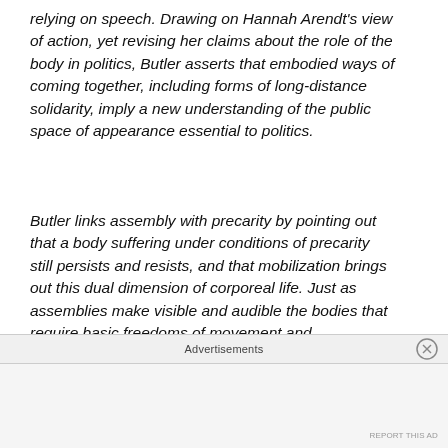relying on speech. Drawing on Hannah Arendt's view of action, yet revising her claims about the role of the body in politics, Butler asserts that embodied ways of coming together, including forms of long-distance solidarity, imply a new understanding of the public space of appearance essential to politics.
Butler links assembly with precarity by pointing out that a body suffering under conditions of precarity still persists and resists, and that mobilization brings out this dual dimension of corporeal life. Just as assemblies make visible and audible the bodies that require basic freedoms of movement and association, so do they expose coercive practices in prison, the dismantling of social democracy,
Advertisements